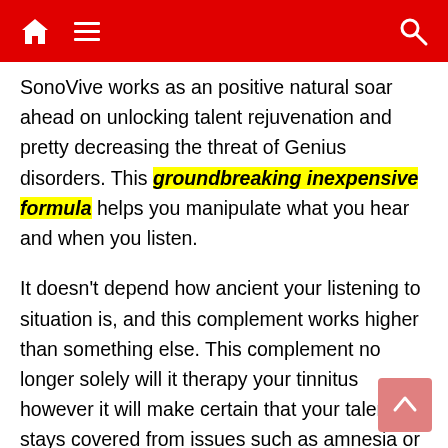Home Menu Search
SonoVive works as an positive natural soar ahead on unlocking talent rejuvenation and pretty decreasing the threat of Genius disorders. This groundbreaking inexpensive formula helps you manipulate what you hear and when you listen.
It doesn't depend how ancient your listening to situation is, and this complement works higher than something else. This complement no longer solely will it therapy your tinnitus however it will make certain that your talent stays covered from issues such as amnesia or reminiscence loss.
The introduced components assist you regain your calm